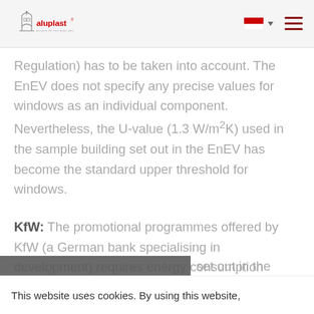aluplast logo with flag and navigation
Regulation) has to be taken into account. The EnEV does not specify any precise values for windows as an individual component. Nevertheless, the U-value (1.3 W/m²K) used in the sample building set out in the EnEV has become the standard upper threshold for windows.
KfW: The promotional programmes offered by KfW (a German bank specialising in development) requires energy consumption [set out in the]
This website uses cookies. By using this website,